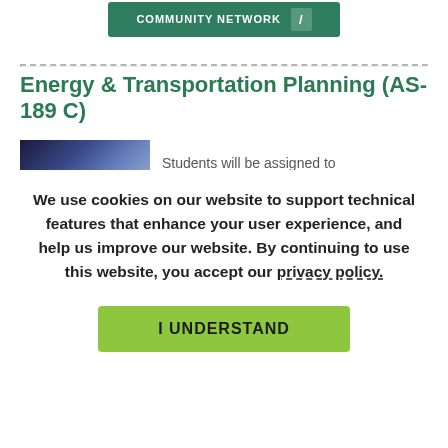[Figure (screenshot): Green button labeled 'COMMUNITY NETWORK' with arrow on right, partially cropped at top]
Energy & Transportation Planning (AS-189 C)
[Figure (photo): Partial photo of night sky or dark landscape, partially visible behind cookie overlay]
Students will be assigned to
We use cookies on our website to support technical features that enhance your user experience, and help us improve our website. By continuing to use this website, you accept our privacy policy.
I UNDERSTAND